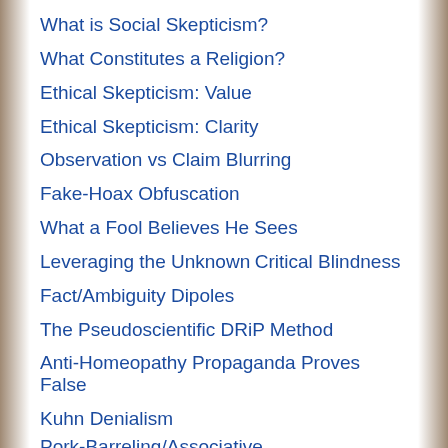What is Social Skepticism?
What Constitutes a Religion?
Ethical Skepticism: Value
Ethical Skepticism: Clarity
Observation vs Claim Blurring
Fake-Hoax Obfuscation
What a Fool Believes He Sees
Leveraging the Unknown
Critical Blindness
Fact/Ambiguity Dipoles
The Pseudoscientific DRiP Method
Anti-Homeopathy Propaganda Proves False
Kuhn Denialism
Pork-Barreling/Associative Condemnation/Stooge Posing Fallacies